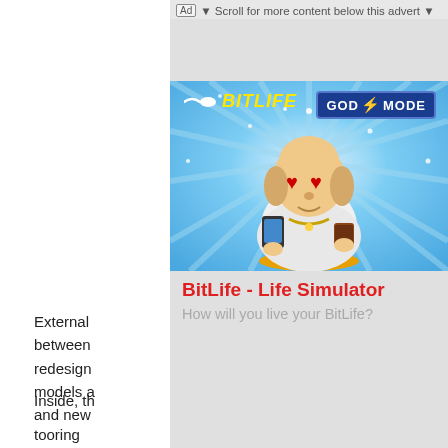External                                                           ences between                                                      gently redesign                                                           ne models a                                                         front and new
[Figure (screenshot): BitLife - Life Simulator mobile game advertisement. Shows a cartoon Buddha-like figure with red heart eyes, holding a phone and a drink, sitting on a gold platform. Blue radial burst background. BitLife logo top-left in yellow italic text with sperm icon. GOD MODE badge top-right in blue. App title 'BitLife - Life Simulator' in red bold text below. Subtitle 'How will you live your BitLife?' in gray.]
Inside, th                                                          tooring